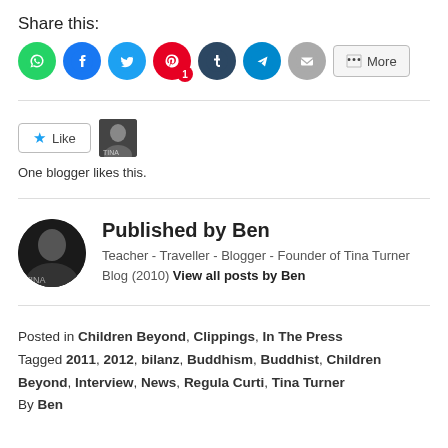Share this:
[Figure (screenshot): Social share buttons: WhatsApp (green), Facebook (blue), Twitter (light blue), Pinterest (red, badge 1), Tumblr (dark), Telegram (blue), Email (gray), More button]
[Figure (screenshot): Like button with star icon and a blogger avatar thumbnail. Text: One blogger likes this.]
[Figure (screenshot): Published by Ben section with circular avatar, title 'Published by Ben', subtitle 'Teacher - Traveller - Blogger - Founder of Tina Turner Blog (2010) View all posts by Ben']
Posted in Children Beyond, Clippings, In The Press Tagged 2011, 2012, bilanz, Buddhism, Buddhist, Children Beyond, Interview, News, Regula Curti, Tina Turner By Ben